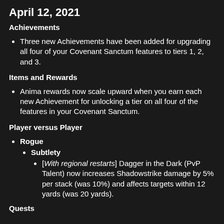April 12, 2021
Achievements
Three new Achievements have been added for upgrading all four of your Covenant Sanctum features to tiers 1, 2, and 3.
Items and Rewards
Anima rewards now scale upward when you earn each new Achievement for unlocking a tier on all four of the features in your Covenant Sanctum.
Player versus Player
Rogue
Subtlety
[With regional restarts] Dagger in the Dark (PvP Talent) now increases Shadowstrike damage by 5% per stack (was 10%) and affects targets within 12 yards (was 20 yards).
Quests